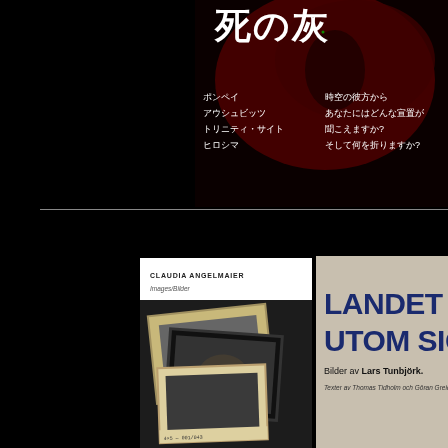[Figure (photo): Book cover with Japanese text on dark red and black background. Shows Japanese characters and text listing locations: ポンペイ, アウシュビッツ, トリニティ・サイト, ヒロシマ with Japanese text questions on the right side.]
[Figure (photo): Book cover for 'Claudia Angelmaier - Images/Bilder' showing stacked photographic slides/negatives against white background.]
[Figure (photo): Book cover for 'LANDET UTOM SIG.' on tan/kraft paper background. Bilder av Lars Tunbjörk. Texter av Thomas Tidholm och Göran Greider.]